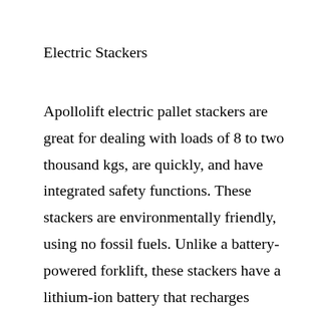Electric Stackers
Apollolift electric pallet stackers are great for dealing with loads of 8 to two thousand kgs, are quickly, and have integrated safety functions. These stackers are environmentally friendly, using no fossil fuels. Unlike a battery-powered forklift, these stackers have a lithium-ion battery that recharges rapidly and never ever needs a charge. And due to the fact that they are battery-powered, they can be easily moved from one area to another and do not have to